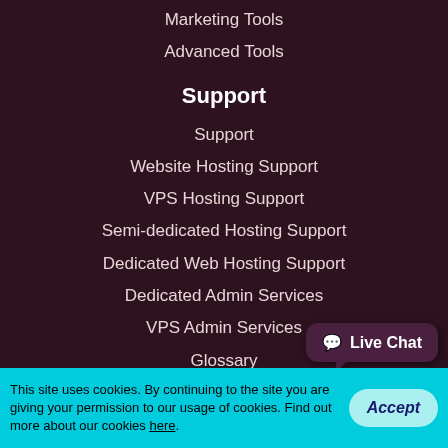Marketing Tools
Advanced Tools
Support
Support
Website Hosting Support
VPS Hosting Support
Semi-dedicated Hosting Support
Dedicated Web Hosting Support
Dedicated Admin Services
VPS Admin Services
Glossary
Contact Us
Our ID: 204831
US: +1-855-211-0932
Live Chat
This site uses cookies. By continuing to the site you are giving your permission to our usage of cookies. Find out more about our cookies here.